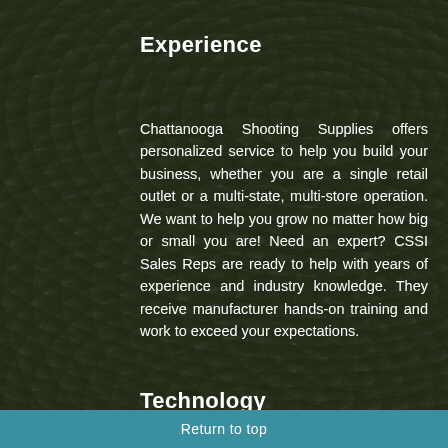Experience
Chattanooga Shooting Supplies offers personalized service to help you build your business, whether you are a single retail outlet or a multi-state, multi-store operation. We want to help you grow no matter how big or small you are! Need an expert? CSSI Sales Reps are ready to help with years of experience and industry knowledge. They receive manufacturer hands-on training and work to exceed your expectations.
Technology
Return to top